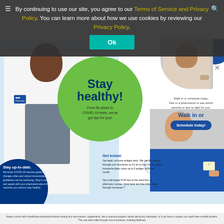By continuing to use our site, you agree to our Terms of Service and Privacy Policy. You can learn more about how we use cookies by reviewing our Privacy Policy.
Ok
[Figure (photo): Healthcare promotional banner featuring a pharmacist in a white coat, a smiling woman with a bandage on her arm, a young girl giving thumbs up, with a green circle graphic saying 'Stay healthy! From flu shots to COVID-19 tests, we've got tips for you!']
Stay healthy!
From flu shots to COVID-19 tests, we've got tips for you!
Walk in or schedule today. Talk to a pharmacist to see which vaccine or test is right for you.
Walk in or
Schedule today!
Stay up-to-date.
We know COVID-19 vaccine guidance changes often and school immunization guidelines can be confusing. Stop in today and speak with your pharmacist about the vaccines you need to stay healthy.
Get tested.
Get rapid, at-home antigen tests. We can bill directly through your insurance so it's at no-cost for you. Most insurance plans cover up to 8 antigen tests per month. Get a lab-based PCR test at the drive-thru or pharmacy counter. Most tests are free when billed through insurance.**
Always consult with a healthcare professional before starting any new vitamins, supplements, diet or exercise program, before taking any medication, or if you have or suspect you might have a health problem. **No cost when billed through most insurances, including Medicare.